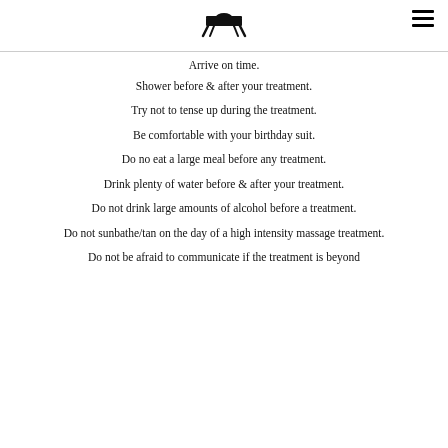[logo and navigation]
Arrive on time.
Shower before & after your treatment.
Try not to tense up during the treatment.
Be comfortable with your birthday suit.
Do no eat a large meal before any treatment.
Drink plenty of water before & after your treatment.
Do not drink large amounts of alcohol before a treatment.
Do not sunbathe/tan on the day of a high intensity massage treatment.
Do not be afraid to communicate if the treatment is beyond